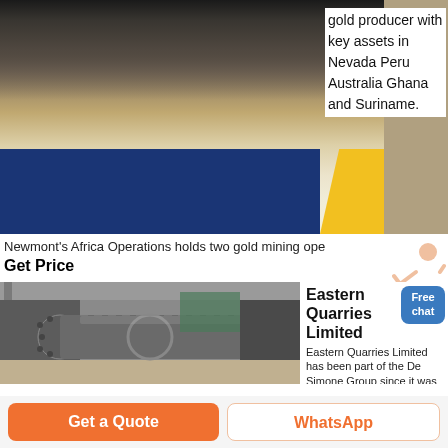[Figure (photo): Mining machinery at top, with blue and yellow banner strip. Text overlay on right: 'gold producer with key assets in Nevada Peru Australia Ghana and Suriname.']
Newmont's Africa Operations holds two gold mining ope
Get Price
[Figure (photo): Large industrial ball mill machine in a warehouse setting, gray cylindrical equipment.]
Eastern Quarries Limited
Eastern Quarries Limited has been part of the De Simone Group since it was acquired from Ghacom in 1984
Get a Quote
WhatsApp